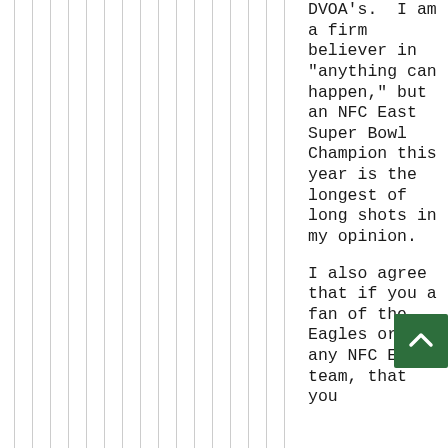DVOA's.  I am a firm believer in "anything can happen," but an NFC East Super Bowl Champion this year is the longest of long shots in my opinion.

I also agree that if you a fan of the Eagles or of any NFC East team, that you
[Figure (other): Green scroll-to-top button with white upward chevron arrow, overlapping the text column in the bottom right area]